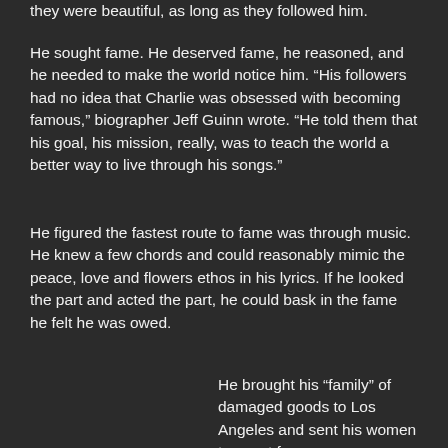they were beautiful, as long as they followed him.
He sought fame. He deserved fame, he reasoned, and he needed to make the world notice him. “His followers had no idea that Charlie was obsessed with becoming famous,” biographer Jeff Guinn wrote. “He told them that his goal, his mission, really, was to teach the world a better way to live through his songs.”
He figured the fastest route to fame was through music. He knew a few chords and could reasonably mimic the peace, love and flowers ethos in his lyrics. If he looked the part and acted the part, he could bask in the fame he felt he was owed.
He brought his “family” of damaged goods to Los Angeles and sent his women to scout for men